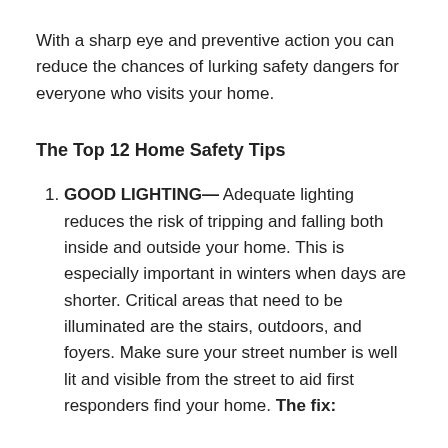With a sharp eye and preventive action you can reduce the chances of lurking safety dangers for everyone who visits your home.
The Top 12 Home Safety Tips
GOOD LIGHTING— Adequate lighting reduces the risk of tripping and falling both inside and outside your home. This is especially important in winters when days are shorter. Critical areas that need to be illuminated are the stairs, outdoors, and foyers. Make sure your street number is well lit and visible from the street to aid first responders find your home. The fix: